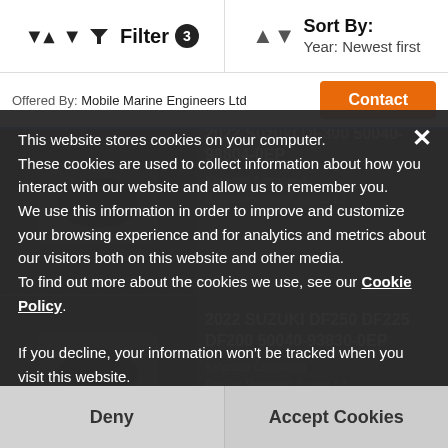Filter 3 | Sort By: Year: Newest first
Offered By: Mobile Marine Engineers Ltd
Contact
[Figure (screenshot): Background product listing: 2022 Suzuki DF300 50040-98804-0EP]
[Figure (screenshot): Background product listing: 2022 SUZUKI DF250 DF225 DF200 50040-93830-0EP]
[Figure (screenshot): Background product listing partial: DF90 Lower Unit Assy 30020-93847-0EP]
This website stores cookies on your computer.
These cookies are used to collect information about how you interact with our website and allow us to remember you.
We use this information in order to improve and customize your browsing experience and for analytics and metrics about our visitors both on this website and other media.
To find out more about the cookies we use, see our Cookie Policy.
If you decline, your information won't be tracked when you visit this website.
A single cookie will be used in your browser to remember your preference not to be tracked.
Deny
Accept Cookies